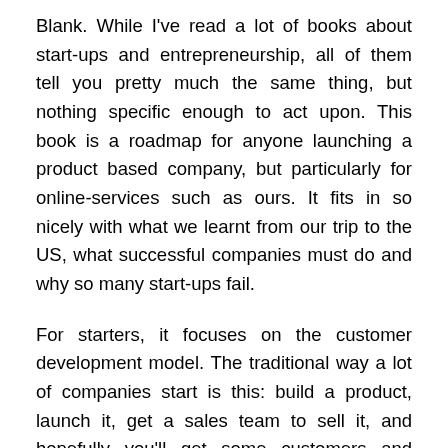Blank. While I've read a lot of books about start-ups and entrepreneurship, all of them tell you pretty much the same thing, but nothing specific enough to act upon. This book is a roadmap for anyone launching a product based company, but particularly for online-services such as ours. It fits in so nicely with what we learnt from our trip to the US, what successful companies must do and why so many start-ups fail.
For starters, it focuses on the customer development model. The traditional way a lot of companies start is this: build a product, launch it, get a sales team to sell it, and hopefully you'll get some customers and become successful. In fact in all honesty, it was the way we were going about things (even though we knew better!) until we got a reminder from all the guys in the US to sell it then build it! I think on our side, it was much easier with our